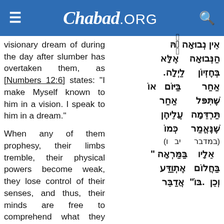Chabad.ORG
visionary dream of during the day after slumber has overtaken them, as [Numbers 12:6] states: "I make Myself known to him in a vision. I speak to him in a dream."

When any of them prophesy, their limbs tremble, their physical powers become weak, they lose control of their senses, and thus, their minds are free to comprehend what they see, as [Genesis 15:12] states concerning Abraham: "and a great, dark dread fell
הַנְּבוּאָה אֶלָּא בְּחֶזְיוֹן לַיְלָה. אוֹ בַּיּוֹם אַחַר שֶׁתִּפּל עֲלֵיהֶן תַּרְדֵּמָה כְּמוֹ שֶׁנֶּאֱמַר (במדבר יב ו) "בַּמַּרְאָה אֵלָיו אֶתְוַדַּע בַּחֲלוֹם אֲדַבֵּר בּוֹ". וְכֵן